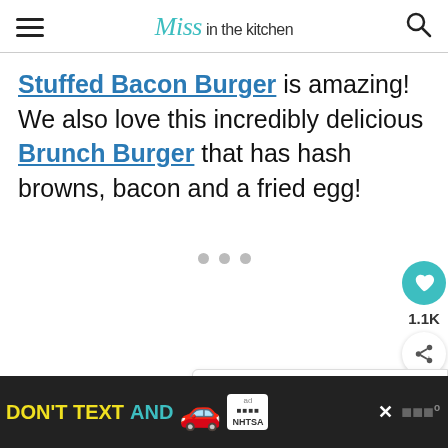Miss in the kitchen
Stuffed Bacon Burger is amazing! We also love this incredibly delicious Brunch Burger that has hash browns, bacon and a fried egg!
[Figure (screenshot): Loading dots placeholder for ad or embedded content]
[Figure (infographic): What's Next panel with burger thumbnail and text 'Ultimate Cheese...']
[Figure (screenshot): Bottom ad banner: DON'T TEXT AND [car emoji], ad badge, NHTSA logo, close button, W logo]